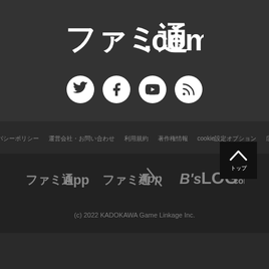[Figure (logo): ファミ通.COM logo in white on dark background]
[Figure (infographic): Four social media icons: Twitter, Facebook, YouTube, RSS - white circles on dark background]
プライバシーポリシー　運営会社・お問い合わせ　利用規約　著作権情報　cookie設定オプション　広告掲載
[Figure (infographic): Back to top button - dark square with white chevron up arrow and Japanese text]
[Figure (logo): Three partner logos: ファミ通App, ファミ通App (stylized), B'sLOG.com]
(c) 2022 KADOKAWA Game Linkage Inc.